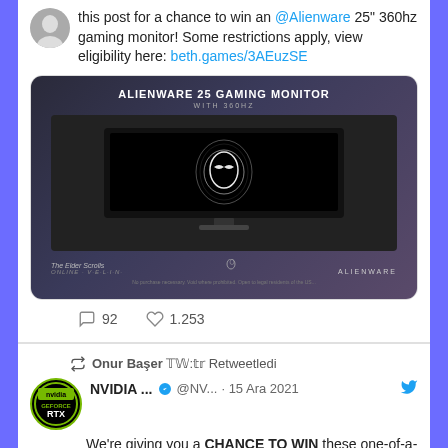this post for a chance to win an @Alienware 25" 360hz gaming monitor! Some restrictions apply, view eligibility here: beth.games/3AEuzSE
[Figure (photo): Alienware 25 Gaming Monitor advertisement image showing a gaming monitor with alien logo on dark background, with The Elder Scrolls branding]
92  1.253
Onur Başer 𝕋𝕎:𝕥𝕣 Retweetledi
NVIDIA ... @NV... · 15 Ara 2021
We're giving you a CHANCE TO WIN these one-of-a-kind GeForce builds.

To celebrate The Matrix Resurrections we partnered with @wbpictures and